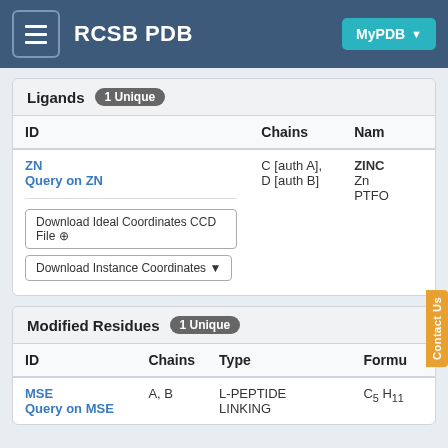RCSB PDB
| ID | Chains | Name |
| --- | --- | --- |
| ZN / Query on ZN | C [auth A], D [auth B] | ZINC / Zn / PTFO |
| ID | Chains | Type | Formula |
| --- | --- | --- | --- |
| MSE / Query on MSE | A, B | L-PEPTIDE LINKING | C5 H11 |